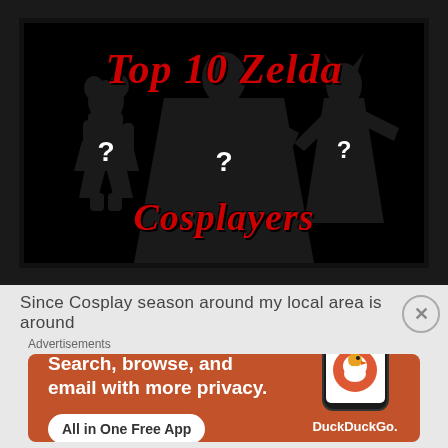[Figure (illustration): Thumbnail image with black background showing three silhouetted figures with question marks, and red italic text reading 'Top 10 Zelda Cosplayers']
Since Cosplay season around my local area is around
Advertisements
[Figure (screenshot): DuckDuckGo advertisement banner with orange background, white text reading 'Search, browse, and email with more privacy. All in One Free App', and a phone mockup showing DuckDuckGo logo]